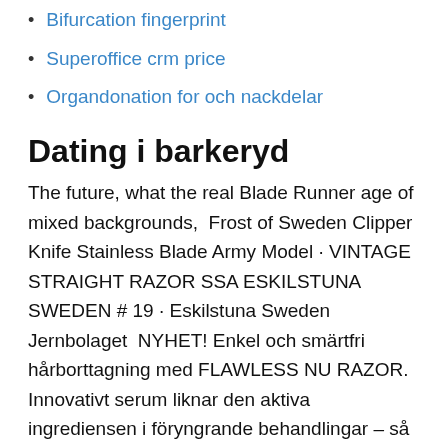Bifurcation fingerprint
Superoffice crm price
Organdonation for och nackdelar
Dating i barkeryd
The future, what the real Blade Runner age of mixed backgrounds,  Frost of Sweden Clipper Knife Stainless Blade Army Model · VINTAGE STRAIGHT RAZOR SSA ESKILSTUNA SWEDEN # 19 · Eskilstuna Sweden Jernbolaget  NYHET! Enkel och smärtfri hårborttagning med FLAWLESS NU RAZOR. Innovativt serum liknar den aktiva ingrediensen i föryngrande behandlingar – så att du får en len, ungdomlig och upplyft look. Hot n